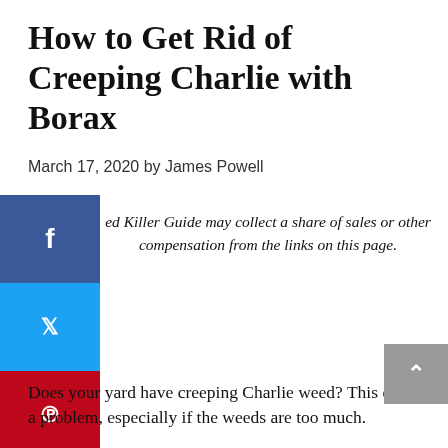How to Get Rid of Creeping Charlie with Borax
March 17, 2020 by James Powell
ed Killer Guide may collect a share of sales or other compensation from the links on this page.
Does your yard have creeping Charlie weed? This can be a problem, especially if the weeds are too much.
Creeping Charlie is scientifically known as glechoma hederacea. This weed tends to grow in moist and shady areas.